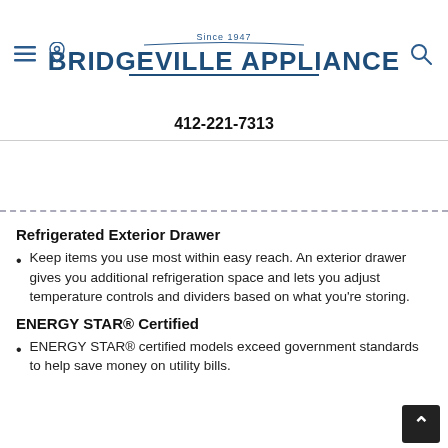Since 1947 BRIDGEVILLE APPLIANCE
412-221-7313
Refrigerated Exterior Drawer
Keep items you use most within easy reach. An exterior drawer gives you additional refrigeration space and lets you adjust temperature controls and dividers based on what you're storing.
ENERGY STAR® Certified
ENERGY STAR® certified models exceed government standards to help save money on utility bills.